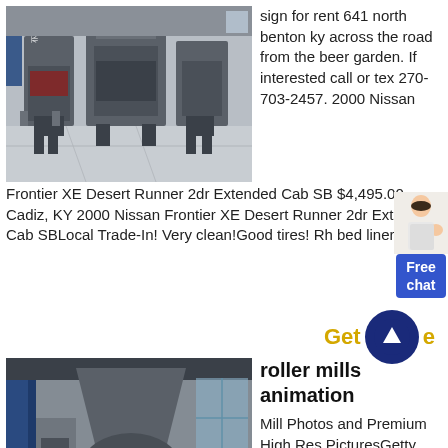[Figure (photo): Industrial machinery (cone crushers/mills) in a factory floor, gray equipment on concrete floor.]
sign for rent 641 north benton ky across the road from the beer garden. If interested call or tex 270-703-2457. 2000 Nissan Frontier XE Desert Runner 2dr Extended Cab SB $4,495.00 Cadiz, KY 2000 Nissan Frontier XE Desert Runner 2dr Extended Cab SBLocal Trade-In! Very clean!Good tires! Rh bed liner!
[Figure (other): Chat widget with female agent illustration and blue Free chat button]
[Figure (other): Get price button with dark blue circle and upward arrow]
[Figure (photo): Industrial roller mill facility interior with large conical grinding equipment and industrial structure.]
roller mills animation
Mill Photos and Premium High Res PicturesGetty . Browse 1 636 mill stock photos and images available